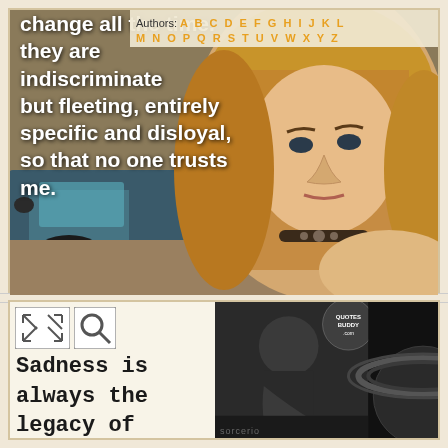[Figure (photo): Top image: young woman with long blonde hair, wearing a choker necklace, posed near a car. Text overlay reads a partial quote about changing all the time, being indiscriminate but fleeting, entirely specific and disloyal, so that no one trusts me. Authors navigation bar overlay with alphabet letters in orange.]
Authors: A B C D E F G H I J K L M N O P Q R S T U V W X Y Z
change all the time. they are indiscriminate but fleeting, entirely specific and disloyal, so that no one trusts me.
[Figure (photo): Bottom composite image: left panel with expand/search icons and text 'Sadness is always the legacy of the past ;' in monospace font on light background. Center panel with black-and-white photo of person hunched over. Right panel with dark background featuring Saturn planet rings graphic. QUOTESBUDDY.COM badge visible. Bottom text partially visible reading 'sorcerio' or similar.]